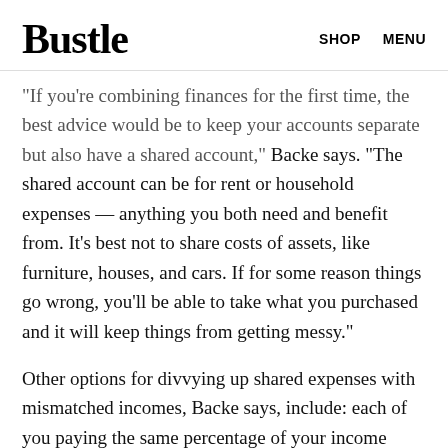Bustle   SHOP   MENU
"If you're combining finances for the first time, the best advice would be to keep your accounts separate but also have a shared account," Backe says. "The shared account can be for rent or household expenses — anything you both need and benefit from. It's best not to share costs of assets, like furniture, houses, and cars. If for some reason things go wrong, you'll be able to take what you purchased and it will keep things from getting messy."
Other options for divvying up shared expenses with mismatched incomes, Backe says, include: each of you paying the same percentage of your income